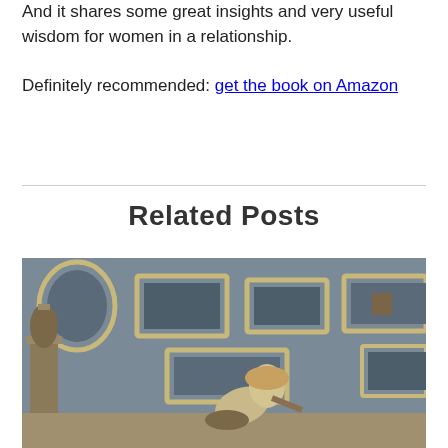And it shares some great insights and very useful wisdom for women in a relationship.

Definitely recommended: get the book on Amazon
Related Posts
[Figure (illustration): A classical painting or illustration showing figures in an ornate interior room with framed artworks on the wall, one figure appears to be kneeling or bowing before another.]